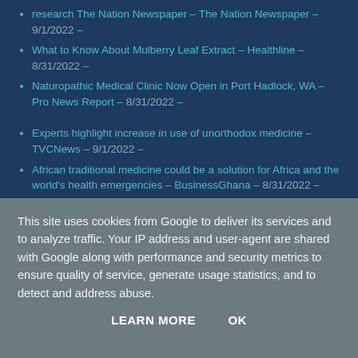research The Nation Newspaper – The Nation Newspaper – 9/1/2022 –
What to Know About Mulberry Leaf Extract – Healthline – 8/31/2022 –
Naturopathic Medical Clinic Now Open in Port Hadlock, WA – Pro News Report – 8/31/2022 –
Experts highlight increase in use of unorthodox medicine – TVCNews – 9/1/2022 –
African traditional medicine could be a solution for Africa and the world's health emergencies – BusinessGhana – 8/31/2022 –
First Lady Auxillia Mnangagwa snubs WHO sanctioned event
This site uses cookies from Google to deliver its services and to analyze traffic. Your IP address and user-agent are shared with Google along with performance and security metrics to ensure quality of service, generate usage statistics, and to detect and address abuse.
LEARN MORE   OK